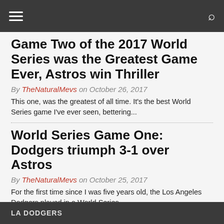Game Two of the 2017 World Series was the Greatest Game Ever, Astros win Thriller
By TheNaturalMevs on October 26, 2017
This one, was the greatest of all time. It's the best World Series game I've ever seen, bettering...
World Series Game One: Dodgers triumph 3-1 over Astros
By TheNaturalMevs on October 25, 2017
For the first time since I was five years old, the Los Angeles Dodgers played in a World Series...
Page 1 of 3  1  2  3
LA DODGERS